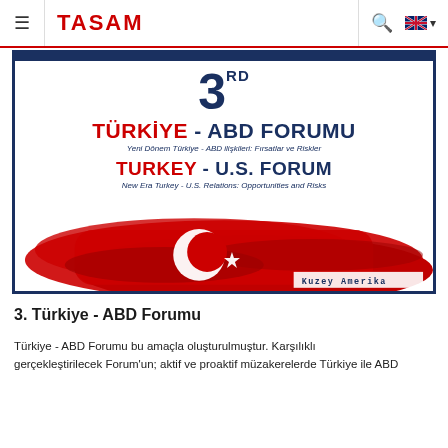TASAM (navigation bar with hamburger menu, logo, search, and UK flag)
[Figure (illustration): 3rd Türkiye - ABD Forumu / Turkey - U.S. Forum event banner. Shows large '3rd' numeral in dark blue, bold red 'TÜRKİYE' and blue 'ABD FORUMU' text, subtitle 'Yeni Dönem Türkiye - ABD ilişkileri: Fırsatlar ve Riskler', bold red 'TURKEY' and blue 'U.S. FORUM' text, subtitle 'New Era Turkey - U.S. Relations: Opportunities and Risks', and a Turkish flag image in the lower portion with 'Kuzey Amerika' label in bottom right corner.]
3. Türkiye - ABD Forumu
Türkiye - ABD Forumu bu amaçla oluşturulmuştur. Karşılıklı gerçekleştirilecek Forum'un; aktif ve proaktif müzakerelerde Türkiye ile ABD